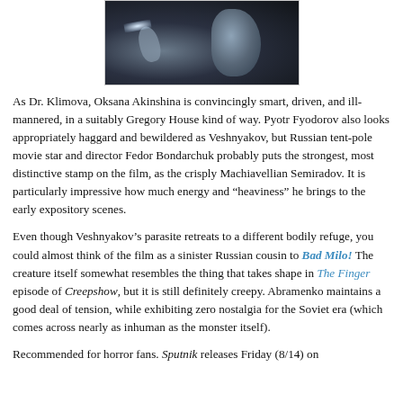[Figure (photo): Dark sci-fi movie still showing a figure crouching near a large metallic circular object with a light beam in a foggy environment]
As Dr. Klimova, Oksana Akinshina is convincingly smart, driven, and ill-mannered, in a suitably Gregory House kind of way. Pyotr Fyodorov also looks appropriately haggard and bewildered as Veshnyakov, but Russian tent-pole movie star and director Fedor Bondarchuk probably puts the strongest, most distinctive stamp on the film, as the crisply Machiavellian Semiradov. It is particularly impressive how much energy and “heaviness” he brings to the early expository scenes.
Even though Veshnyakov’s parasite retreats to a different bodily refuge, you could almost think of the film as a sinister Russian cousin to Bad Milo! The creature itself somewhat resembles the thing that takes shape in The Finger episode of Creepshow, but it is still definitely creepy. Abramenko maintains a good deal of tension, while exhibiting zero nostalgia for the Soviet era (which comes across nearly as inhuman as the monster itself).
Recommended for horror fans. Sputnik releases Friday (8/14) on